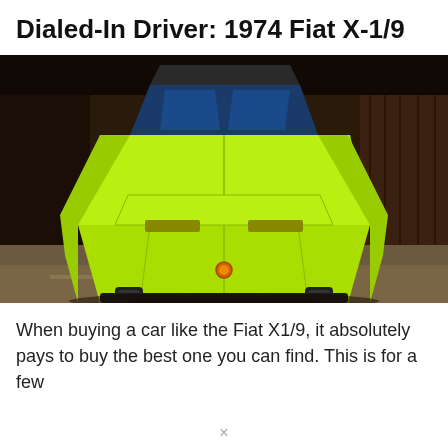Dialed-In Driver: 1974 Fiat X-1/9
[Figure (photo): Front three-quarter overhead view of a lime green 1974 Fiat X-1/9 parked inside a dark barn or garage with wooden walls and concrete floor. The car has blue interior visible through the windows and black rubber bumper overriders.]
When buying a car like the Fiat X1/9, it absolutely pays to buy the best one you can find. This is for a few